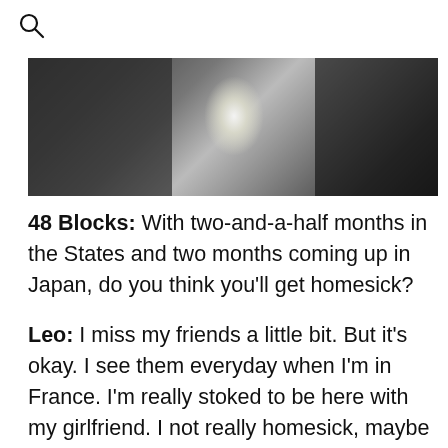Search icon
[Figure (photo): Black and white photograph showing a blurred interior scene with a bright glowing light source in the center, dark areas on left and right sides.]
48 Blocks: With two-and-a-half months in the States and two months coming up in Japan, do you think you'll get homesick?
Leo: I miss my friends a little bit. But it's okay. I see them everyday when I'm in France. I'm really stoked to be here with my girlfriend. I not really homesick, maybe a little bit for food. I miss good bread, cheese, pastries, and stuff. But I've